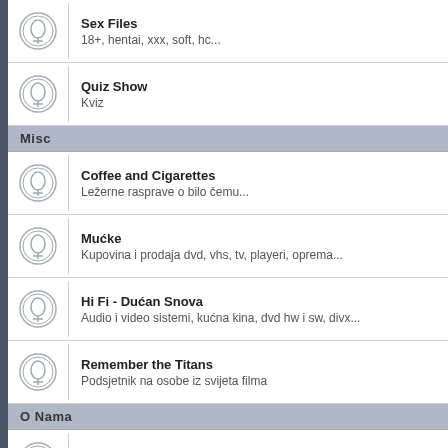Sex Files
18+, hentai, xxx, soft, hc...
Quiz Show
Kviz
Misc
Coffee and Cigarettes
Ležerne rasprave o bilo čemu...
Mućke
Kupovina i prodaja dvd, vhs, tv, playeri, oprema...
Hi Fi - Dućan Snova
Audio i video sistemi, kućna kina, dvd hw i sw, divx...
Remember the Titans
Podsjetnik na osobe iz svijeta filma
O Nama
Bug's Life
Bugovi i primjedbe vezane uz funkcioniranje sitea...
Gore ne može
Kritike, pohvale, pokude, želje i pozdravi :)